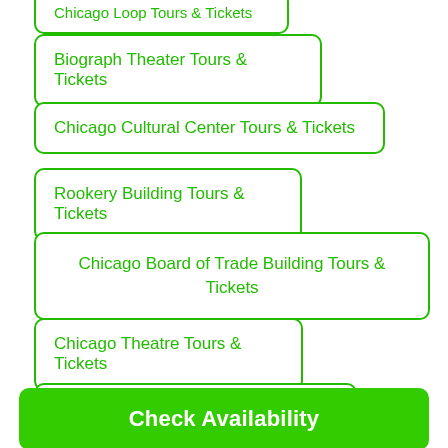Chicago Loop Tours & Tickets
Biograph Theater Tours & Tickets
Chicago Cultural Center Tours & Tickets
Rookery Building Tours & Tickets
Chicago Board of Trade Building Tours & Tickets
Chicago Theatre Tours & Tickets
Art Institute of Chicago Tours & Tickets
Check Availability